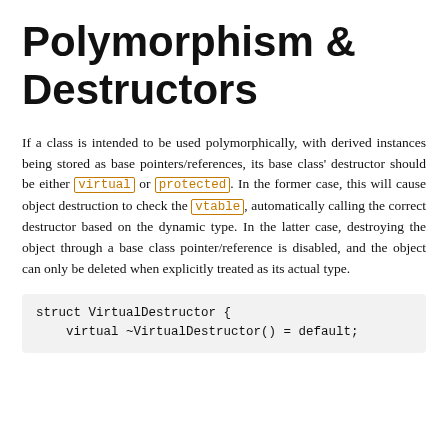Polymorphism & Destructors
If a class is intended to be used polymorphically, with derived instances being stored as base pointers/references, its base class' destructor should be either virtual or protected. In the former case, this will cause object destruction to check the vtable, automatically calling the correct destructor based on the dynamic type. In the latter case, destroying the object through a base class pointer/reference is disabled, and the object can only be deleted when explicitly treated as its actual type.
struct VirtualDestructor {
    virtual ~VirtualDestructor() = default;